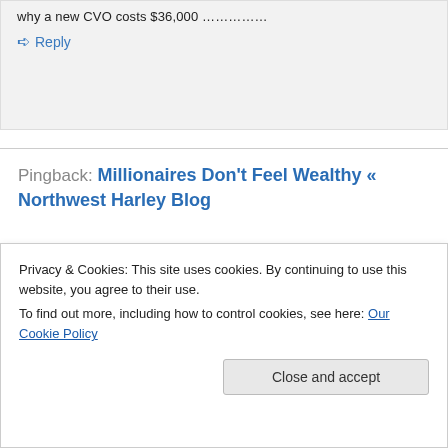why a new CVO costs $36,000 ……………
↪ Reply
Pingback: Millionaires Don't Feel Wealthy « Northwest Harley Blog
Advertisements
[Figure (other): Advertisement box with large partial text 'Opinions' in dark serif font on white background with dark border]
Privacy & Cookies: This site uses cookies. By continuing to use this website, you agree to their use.
To find out more, including how to control cookies, see here: Our Cookie Policy
Close and accept